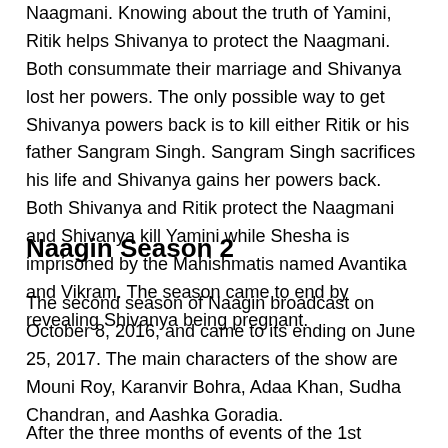Naagmani. Knowing about the truth of Yamini, Ritik helps Shivanya to protect the Naagmani. Both consummate their marriage and Shivanya lost her powers. The only possible way to get Shivanya powers back is to kill either Ritik or his father Sangram Singh. Sangram Singh sacrifices his life and Shivanya gains her powers back. Both Shivanya and Ritik protect the Naagmani and Shivanya kill Yamini while Shesha is imprisoned by the Mahishmatis named Avantika and Vikram. The season came to end by revealing Shivanya being pregnant.
Naagin Season 2
The second season of Naagin broadcast on October 8, 2016, and came to its ending on June 25, 2017. The main characters of the show are Mouni Roy, Karanvir Bohra, Adaa Khan, Sudha Chandran, and Aashka Goradia.
After the three months of events of the 1st season, three months